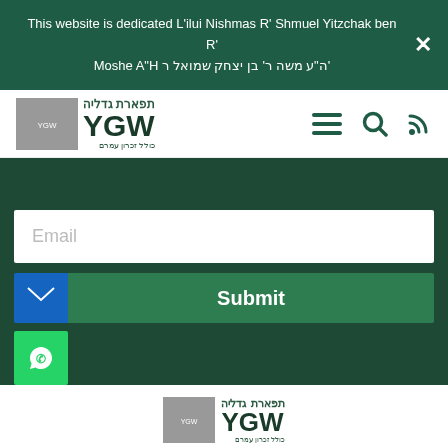This website is dedicated L'ilui Nishmas R' Shmuel Yitzchak ben R' Moshe A"H ה"ע משה ר' בן יצחק שמואל ר'
[Figure (logo): YGW logo with Hebrew text תפארת גדליה and YGW text and כולל זכרון עמרם]
[Figure (screenshot): Navigation bar with hamburger menu, search icon, and RSS icon in green]
[Figure (screenshot): Dark green section with Email input field and Submit button with mail icon and WhatsApp button]
[Figure (logo): Footer YGW logo with Hebrew text תפארת גדליה and כולל זכרון עמרם]